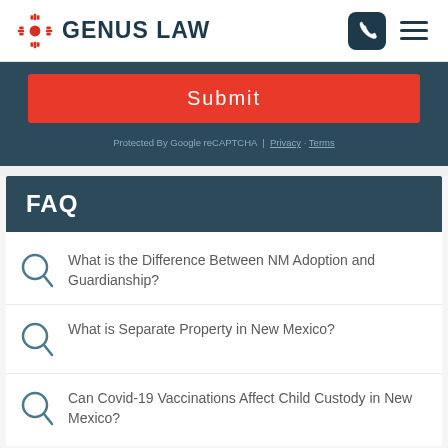GENUS LAW
Submit
Protected By Google reCAPTCHA | Privacy · Terms
FAQ
What is the Difference Between NM Adoption and Guardianship?
What is Separate Property in New Mexico?
Can Covid-19 Vaccinations Affect Child Custody in New Mexico?